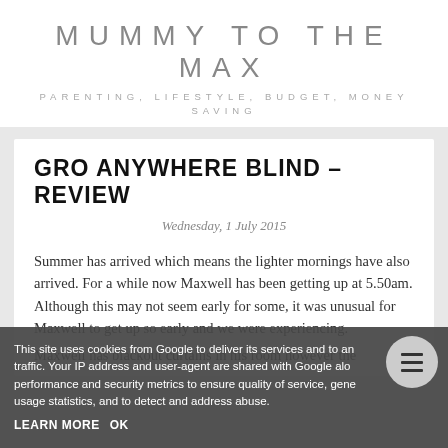MUMMY TO THE MAX
PARENTING, LIFESTYLE, BUDGET, MONEY SAVING
GRO ANYWHERE BLIND – REVIEW
Wednesday, 1 July 2015
Summer has arrived which means the lighter mornings have also arrived. For a while now Maxwell has been getting up at 5.50am.  Although this may not seem early for some, it was unusual for Maxwell to get up so early and we were experiencing.
Maxwell has blackout curtains in his room however the
This site uses cookies from Google to deliver its services and to analyze traffic. Your IP address and user-agent are shared with Google along with performance and security metrics to ensure quality of service, generate usage statistics, and to detect and address abuse.
LEARN MORE    OK